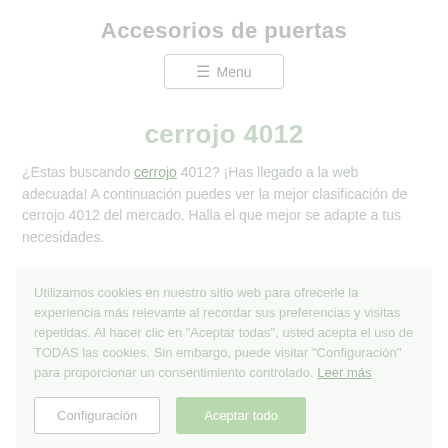Accesorios de puertas
Menu
cerrojo 4012
¿Estas buscando cerrojo 4012? ¡Has llegado a la web adecuada! A continuación puedes ver la mejor clasificación de cerrojo 4012 del mercado. Halla el que mejor se adapte a tus necesidades.
Utilizamos cookies en nuestro sitio web para ofrecerle la experiencia más relevante al recordar sus preferencias y visitas repetidas. Al hacer clic en "Aceptar todas", usted acepta el uso de TODAS las cookies. Sin embargo, puede visitar "Configuración" para proporcionar un consentimiento controlado. Leer más
Configuración
Aceptar todo